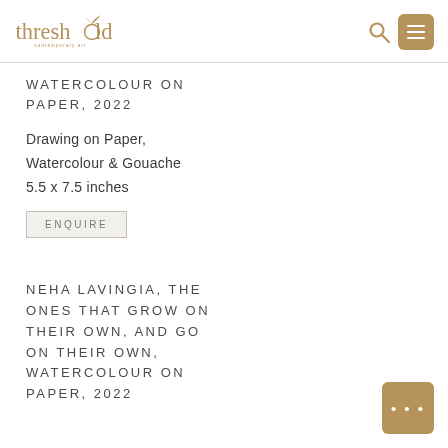threshold contemporary art
WATERCOLOUR ON PAPER, 2022
Drawing on Paper,
Watercolour & Gouache
5.5 x 7.5 inches
ENQUIRE
NEHA LAVINGIA, THE ONES THAT GROW ON THEIR OWN, AND GO ON THEIR OWN, WATERCOLOUR ON PAPER, 2022